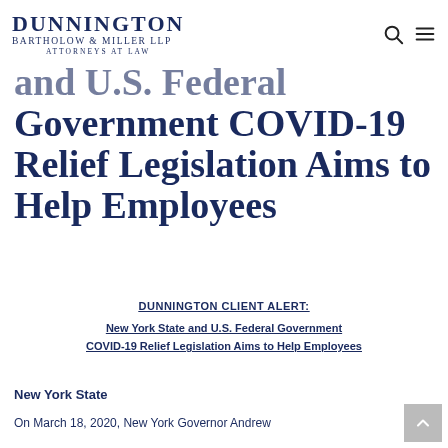DUNNINGTON BARTHOLOW & MILLER LLP ATTORNEYS AT LAW
and U.S. Federal Government COVID-19 Relief Legislation Aims to Help Employees
DUNNINGTON CLIENT ALERT:
New York State and U.S. Federal Government COVID-19 Relief Legislation Aims to Help Employees
New York State
On March 18, 2020, New York Governor Andrew